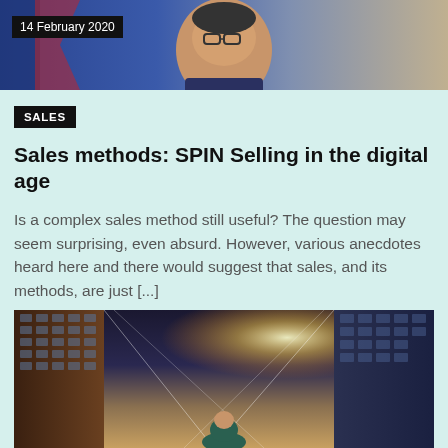[Figure (photo): Top banner photo showing a man with glasses smiling, against a blue background, with date overlay '14 February 2020']
14 February 2020
SALES
Sales methods: SPIN Selling in the digital age
Is a complex sales method still useful? The question may seem surprising, even absurd. However, various anecdotes heard here and there would suggest that sales, and its methods, are just [...]
[Figure (photo): Bottom photo showing a person looking up at tall glass skyscrapers from below, with sunlight flaring between buildings]